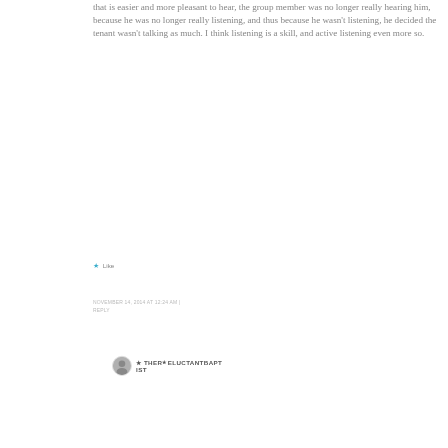that is easier and more pleasant to hear, the group member was no longer really hearing him, because he was no longer really listening, and thus because he wasn't listening, he decided the tenant wasn't talking as much. I think listening is a skill, and active listening even more so.
★ Like
NOVEMBER 14, 2014 AT 12:24 AM | REPLY
★ THERELUCTANTBAPTIST